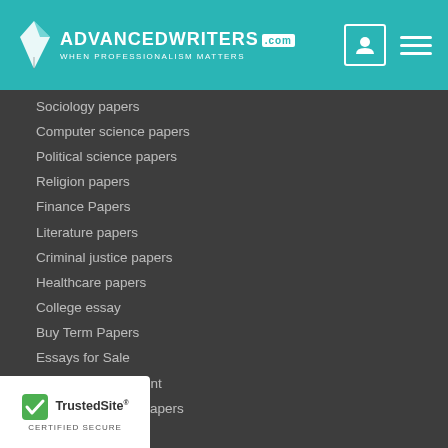[Figure (logo): AdvancedWriters.com logo with quill pen icon and tagline 'WHEN PROFESSIONALISM MATTERS' on teal header background]
Sociology papers
Computer science papers
Political science papers
Religion papers
Finance Papers
Literature papers
Criminal justice papers
Healthcare papers
College essay
Buy Term Papers
Essays for Sale
Write my assignment
Cheap Research Papers
Cheap Essays
Write my paper
Pay for Papers
Non-Plagiarized Papers
High school papers
[Figure (logo): TrustedSite CERTIFIED SECURE badge in white box at bottom left]